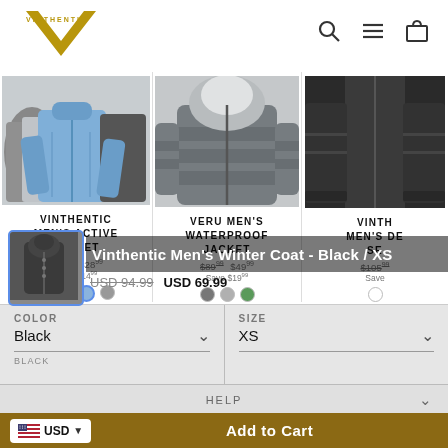VINTHENTIC — e-commerce site header with logo, search, menu, and cart icons
[Figure (screenshot): Product grid showing three men's jacket products: Vinthentic Men's Active Jacket, Veru Men's Waterproof Jacket, and Vinthentic Men's DE... with prices and color swatches]
Vinthentic Men's Winter Coat - Black / XS
USD 94.99  USD 69.99
COLOR
Black
SIZE
XS
HELP
Add to Cart